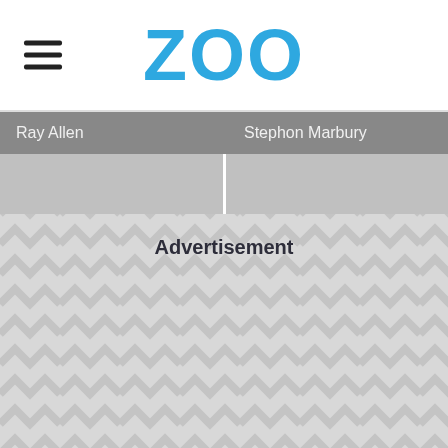ZOO
Ray Allen    Stephon Marbury
[Figure (other): Advertisement placeholder with herringbone/chevron pattern background]
Advertisement